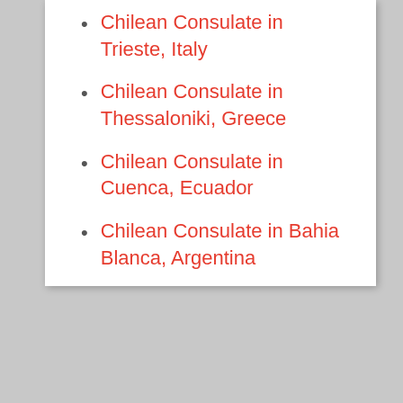Chilean Consulate in Trieste, Italy
Chilean Consulate in Thessaloniki, Greece
Chilean Consulate in Cuenca, Ecuador
Chilean Consulate in Bahia Blanca, Argentina